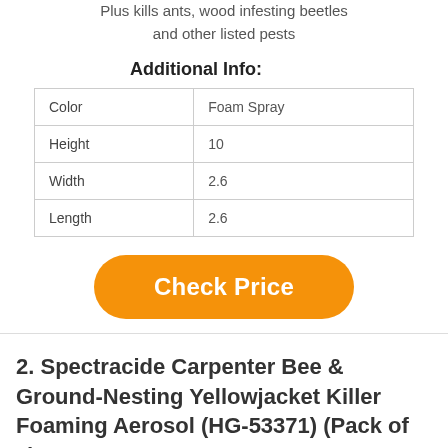Plus kills ants, wood infesting beetles and other listed pests
Additional Info:
| Color | Foam Spray |
| Height | 10 |
| Width | 2.6 |
| Length | 2.6 |
[Figure (other): Orange rounded rectangle button with white text 'Check Price']
2. Spectracide Carpenter Bee & Ground-Nesting Yellowjacket Killer Foaming Aerosol (HG-53371) (Pack of 3)